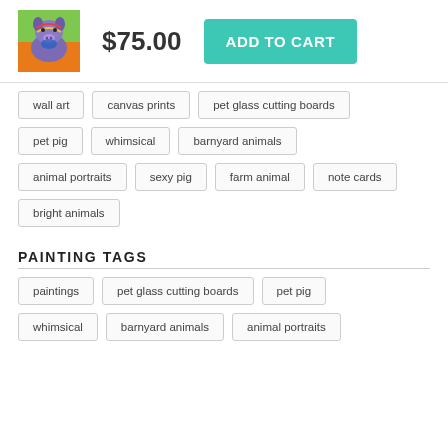[Figure (photo): Small thumbnail of colorful pig painting artwork]
$75.00
ADD TO CART
wall art
canvas prints
pet glass cutting boards
pet pig
whimsical
barnyard animals
animal portraits
sexy pig
farm animal
note cards
bright animals
PAINTING TAGS
paintings
pet glass cutting boards
pet pig
whimsical
barnyard animals
animal portraits